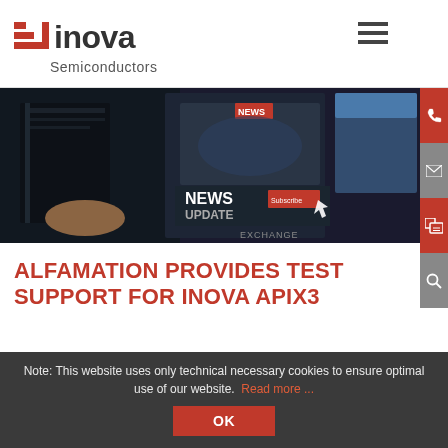[Figure (logo): Inova Semiconductors logo — red stylized arrow/signal icon left, 'inova' in large text, 'Semiconductors' subtitle below]
[Figure (photo): News update banner image showing tablet/screen with 'NEWS UPDATE' overlay text, book, digital news graphics on dark background]
ALFAMATION PROVIDES TEST SUPPORT FOR INOVA APIX3
26.01.2022
Note: This website uses only technical necessary cookies to ensure optimal use of our website. Read more ...